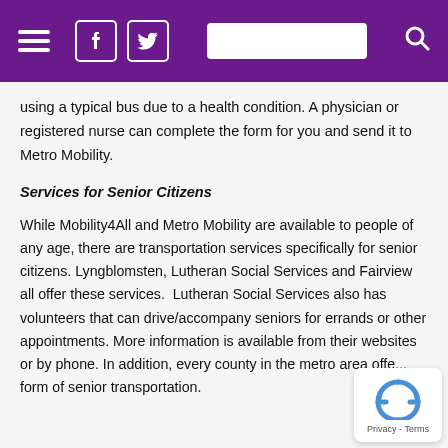Navigation header with hamburger menu, Facebook and Twitter icons, search bar, and search icon on purple background
using a typical bus due to a health condition. A physician or registered nurse can complete the form for you and send it to Metro Mobility.
Services for Senior Citizens
While Mobility4All and Metro Mobility are available to people of any age, there are transportation services specifically for senior citizens. Lyngblomsten, Lutheran Social Services and Fairview all offer these services.  Lutheran Social Services also has volunteers that can drive/accompany seniors for errands or other appointments. More information is available from their websites or by phone. In addition, every county in the metro area offe... form of senior transportation.
[Figure (logo): Google reCAPTCHA privacy badge with circular arrow icon and Privacy - Terms text]